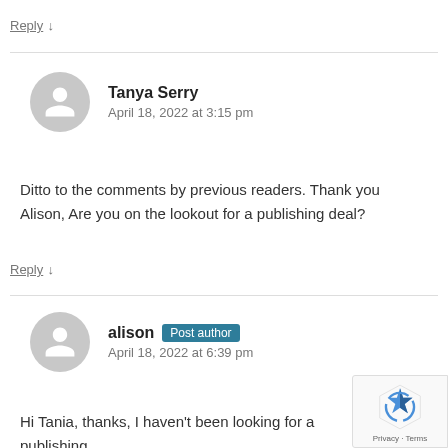Reply ↓
Tanya Serry
April 18, 2022 at 3:15 pm
Ditto to the comments by previous readers. Thank you Alison, Are you on the lookout for a publishing deal?
Reply ↓
alison Post author
April 18, 2022 at 6:39 pm
Hi Tania, thanks, I haven't been looking for a publishing